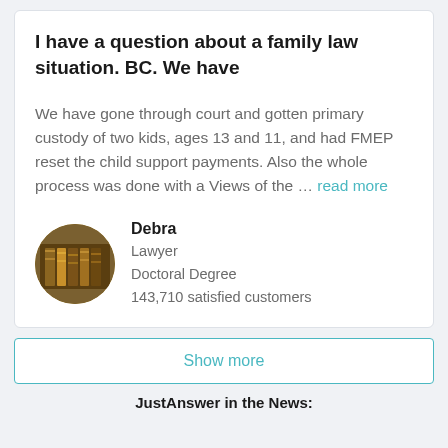I have a question about a family law situation. BC. We have
We have gone through court and gotten primary custody of two kids, ages 13 and 11, and had FMEP reset the child support payments. Also the whole process was done with a Views of the … read more
Debra
Lawyer
Doctoral Degree
143,710 satisfied customers
Show more
JustAnswer in the News: